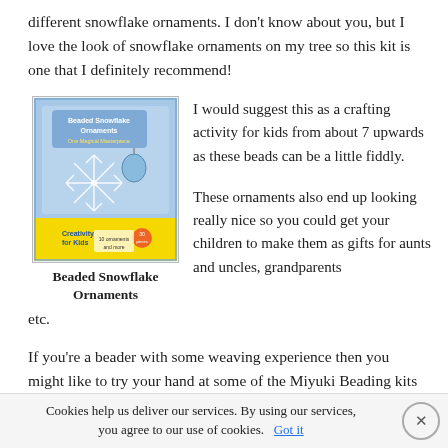different snowflake ornaments. I don't know about you, but I love the look of snowflake ornaments on my tree so this kit is one that I definitely recommend!
[Figure (photo): Product box image for Beaded Snowflake Ornaments by Creativity for Kids, showing a blue snowflake-themed craft kit box]
Beaded Snowflake Ornaments
I would suggest this as a crafting activity for kids from about 7 upwards as these beads can be a little fiddly.
These ornaments also end up looking really nice so you could get your children to make them as gifts for aunts and uncles, grandparents etc.
If you're a beader with some weaving experience then you might like to try your hand at some of the Miyuki Beading kits
Cookies help us deliver our services. By using our services, you agree to our use of cookies.   Got it